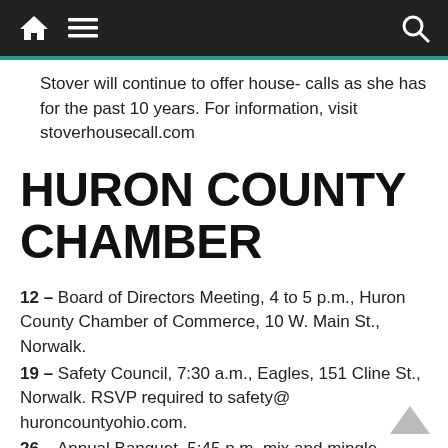Navigation bar with home, menu, and search icons
Stover will continue to offer house- calls as she has for the past 10 years. For information, visit stoverhousecall.com
HURON COUNTY CHAMBER
12 – Board of Directors Meeting, 4 to 5 p.m., Huron County Chamber of Commerce, 10 W. Main St., Norwalk.
19 – Safety Council, 7:30 a.m., Eagles, 151 Cline St., Norwalk. RSVP required to safety@huroncountyohio.com.
26 – Annual Banquet, 5:45 p.m. mix and mingle, dinner at 6:30 p.m., Norwalk Custom Order